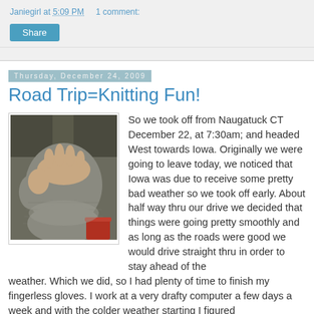Janiegirl at 5:09 PM    1 comment:
[Figure (other): Share button]
Thursday, December 24, 2009
Road Trip=Knitting Fun!
[Figure (photo): Photo of hands wearing gray fingerless knitted gloves]
So we took off from Naugatuck CT December 22, at 7:30am; and headed West towards Iowa. Originally we were going to leave today, we noticed that Iowa was due to receive some pretty bad weather so we took off early. About half way thru our drive we decided that things were going pretty smoothly and as long as the roads were good we would drive straight thru in order to stay ahead of the weather. Which we did, so I had plenty of time to finish my fingerless gloves. I work at a very drafty computer a few days a week and with the colder weather starting I figured